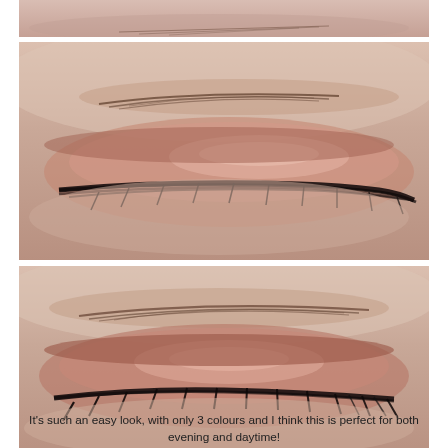[Figure (photo): Partial top crop of a closed eye with eyebrow, showing rosy/mauve eyeshadow makeup look]
[Figure (photo): Close-up of a closed eye (side-angled view) with rosy bronze/mauve eyeshadow and dark eyeliner, brow visible above]
[Figure (photo): Close-up of a closed eye (front view) with rosy mauve eyeshadow and black mascara/lashes, eyebrow visible above]
It's such an easy look, with only 3 colours and I think this is perfect for both evening and daytime!